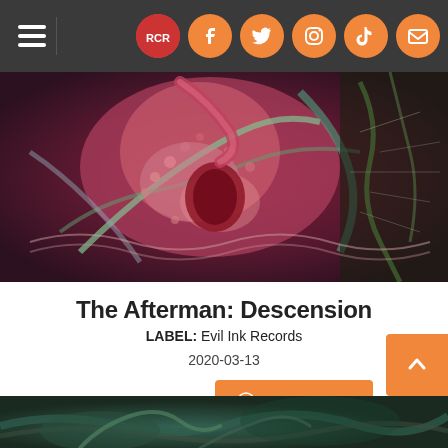Navigation bar with hamburger menu and social icons (logo, Facebook, Twitter, Instagram, TikTok, Email)
[Figure (illustration): Surreal fantasy album artwork showing a figure surrounded by tentacles, organic shapes, pink and red tones with green swirling elements, dark edges]
The Afterman: Descension
LABEL: Evil Ink Records
2020-03-13
MP3 Album: $8.99  DOWNLOAD
[Figure (illustration): Bottom strip of dark teal/green surreal artwork, partial view]